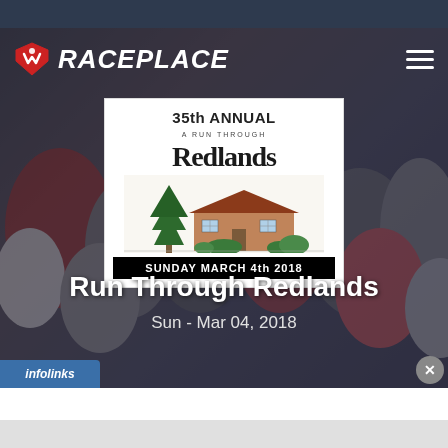[Figure (logo): RacePlace logo with red shield/medal icon and white italic bold text RACEPLACE, hamburger menu icon on right]
[Figure (illustration): 35th Annual Run Through Redlands event poster with pine tree and house illustration, date SUNDAY MARCH 4th 2018]
Run Through Redlands
Sun - Mar 04, 2018
[Figure (screenshot): infolinks bar at bottom left and close X button at bottom right, white and gray content area below hero]